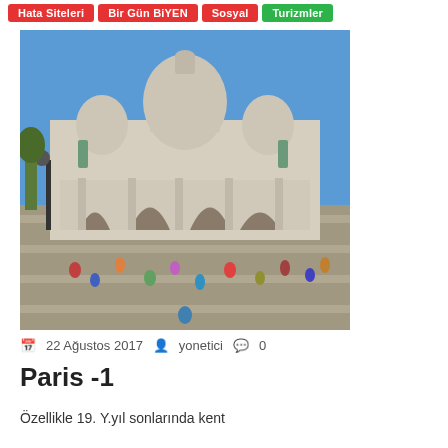Hata Siteleri | Bir Gün BiYEN | Sosyal | Turizmler
[Figure (photo): Photo of Sacré-Cœur Basilica in Paris with tourists on the steps in front, blue sky background.]
22 Ağustos 2017  yonetici  0
Paris -1
Özellikle 19. Y.yıl sonlarında kent